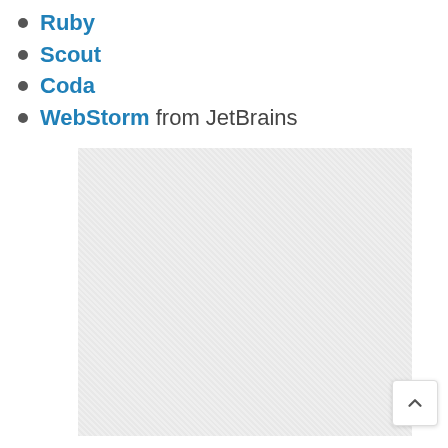Ruby
Scout
Coda
WebStorm from JetBrains
[Figure (screenshot): A large gray placeholder image area, likely a screenshot or illustration placeholder with a subtle diagonal pattern texture.]